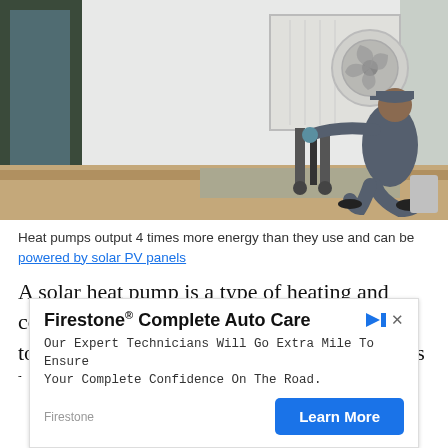[Figure (photo): A technician in grey workwear and a cap crouches beside a white building, servicing an outdoor heat pump / air conditioning unit mounted on the wall. The setting is outdoors with gravel ground and sandy soil.]
Heat pumps output 4 times more energy than they use and can be powered by solar PV panels
A solar heat pump is a type of heating and cooling system that uses the power of the sun to provide space heating and cooling. It works by drawing heat from the air in winter...
[Figure (infographic): Advertisement banner for Firestone® Complete Auto Care. Headline: 'Firestone® Complete Auto Care'. Body: 'Our Expert Technicians Will Go Extra Mile To Ensure Your Complete Confidence On The Road.' Brand: Firestone. CTA button: 'Learn More']